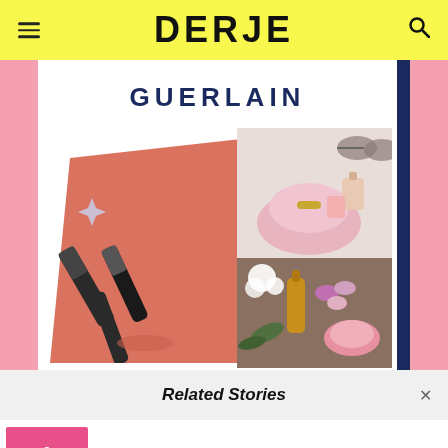DERJE
[Figure (photo): Hero image collage showing GUERLAIN makeup products including lip glosses on coral background and makeup/beauty items with pink bag and powder]
Related Stories
[Figure (photo): Thumbnail showing pink background with text '9 BEST MAKE-UP KITS']
Top 10 Best Make-Up Kit That You Didn't Know Exist!